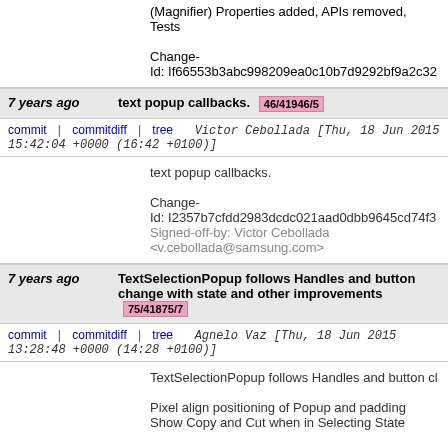(Magnifier) Properties added, APIs removed, Tests

Change-
Id: If66553b3abc998209ea0c10b7d9292bf9a2c32
7 years ago   text popup callbacks.  46/41946/5
commit | commitdiff | tree   Victor Cebollada [Thu, 18 Jun 2015 15:42:04 +0000 (16:42 +0100)]
text popup callbacks.

Change-
Id: I2357b7cfdd2983dcdc021aad0dbb9645cd74f3
Signed-off-by: Victor Cebollada <v.cebollada@samsung.com>
7 years ago   TextSelectionPopup follows Handles and button change with state and other improvements  75/41875/7
commit | commitdiff | tree   Agnelo Vaz [Thu, 18 Jun 2015 13:28:48 +0000 (14:28 +0100)]
TextSelectionPopup follows Handles and button cl

Pixel align positioning of Popup and padding
Show Copy and Cut when in Selecting State

Change-